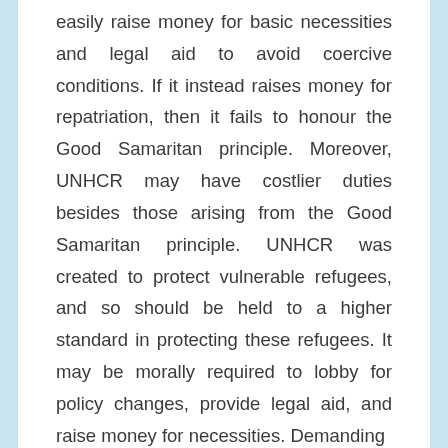easily raise money for basic necessities and legal aid to avoid coercive conditions. If it instead raises money for repatriation, then it fails to honour the Good Samaritan principle. Moreover, UNHCR may have costlier duties besides those arising from the Good Samaritan principle. UNHCR was created to protect vulnerable refugees, and so should be held to a higher standard in protecting these refugees. It may be morally required to lobby for policy changes, provide legal aid, and raise money for necessities. Demanding